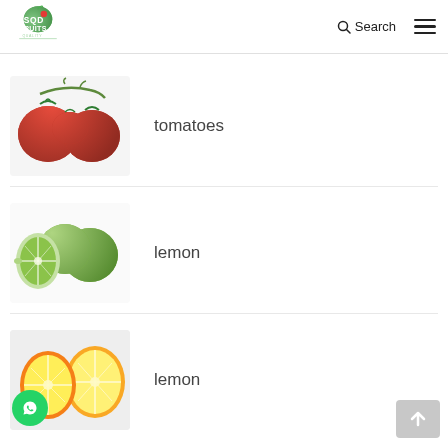SQD FRUITS - Search - Menu
[Figure (photo): Red tomatoes on vine against white background]
tomatoes
[Figure (photo): Green limes, one halved, against white background]
lemon
[Figure (photo): Yellow lemon halved against light background, with WhatsApp icon overlay]
lemon